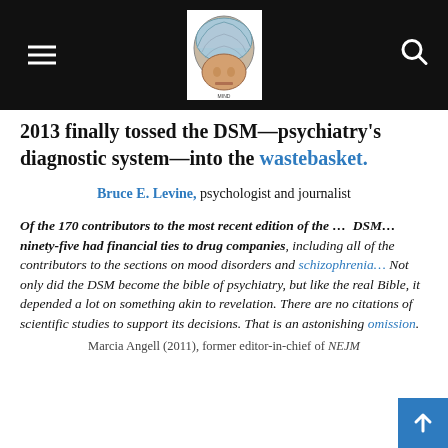Navigation header with logo, hamburger menu, and search icon
2013 finally tossed the DSM—psychiatry's diagnostic system—into the wastebasket.
Bruce E. Levine, psychologist and journalist
Of the 170 contributors to the most recent edition of the … DSM… ninety-five had financial ties to drug companies, including all of the contributors to the sections on mood disorders and schizophrenia… Not only did the DSM become the bible of psychiatry, but like the real Bible, it depended a lot on something akin to revelation. There are no citations of scientific studies to support its decisions. That is an astonishing omission.
Marcia Angell (2011), former editor-in-chief of NEJM